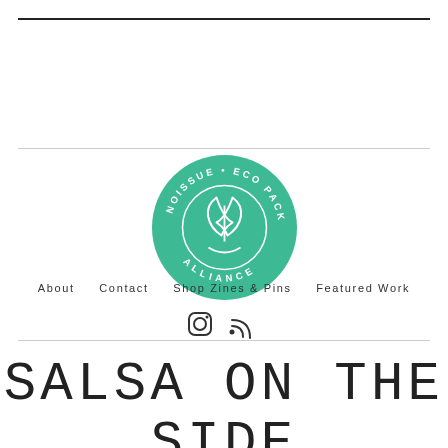[Figure (logo): Noissue Eco Packaging Alliance circular badge/logo in teal green with white leaf icon and circular text reading NOISSUE ECO PACKAGING ALLIANCE]
About   Contact   Shop Zines & Pins   Featured Work
[Figure (other): Instagram and RSS feed icons]
SALSA ON THE SIDE